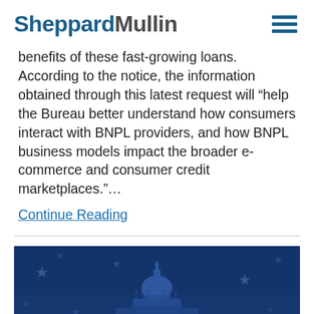SheppardMullin
benefits of these fast-growing loans.  According to the notice, the information obtained through this latest request will “help the Bureau better understand how consumers interact with BNPL providers, and how BNPL business models impact the broader e-commerce and consumer credit marketplaces.”…
Continue Reading
[Figure (photo): Photo of the U.S. Capitol building with blue overlay and stars, suggesting a government/regulatory theme]